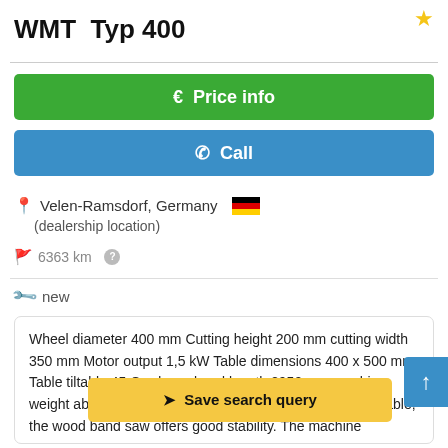WMT  Typ 400
€ Price info
✆ Call
Velen-Ramsdorf, Germany 🇩🇪
(dealership location)
6363 km ?
new
Wheel diameter 400 mm Cutting height 200 mm cutting width 350 mm Motor output 1,5 kW Table dimensions 400 x 500 mm Table tiltable 45 Grad saw band length 2950 mm machine weight ab. 150 kg Dimensions B7ffpp8bjv wood band on table, the wood band saw offers good stability. The machine
➤ Save search query